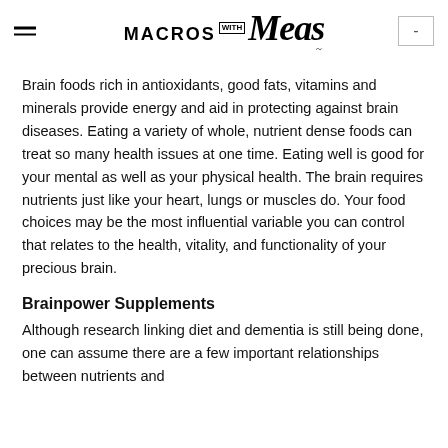MACROS WITH Meas
Brain foods rich in antioxidants, good fats, vitamins and minerals provide energy and aid in protecting against brain diseases. Eating a variety of whole, nutrient dense foods can treat so many health issues at one time. Eating well is good for your mental as well as your physical health. The brain requires nutrients just like your heart, lungs or muscles do. Your food choices may be the most influential variable you can control that relates to the health, vitality, and functionality of your precious brain.
Brainpower Supplements
Although research linking diet and dementia is still being done, one can assume there are a few important relationships between nutrients and